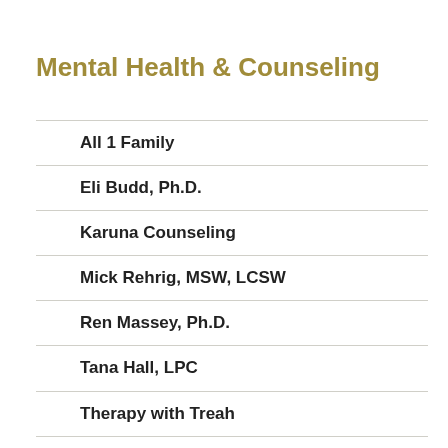Mental Health & Counseling
All 1 Family
Eli Budd, Ph.D.
Karuna Counseling
Mick Rehrig, MSW, LCSW
Ren Massey, Ph.D.
Tana Hall, LPC
Therapy with Treah
True You Southeast